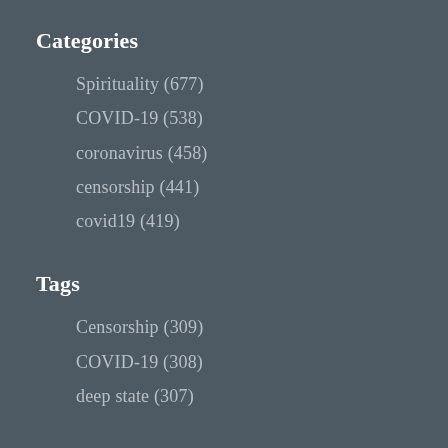Categories
Spirituality (677)
COVID-19 (538)
coronavirus (458)
censorship (441)
covid19 (419)
Tags
Censorship (309)
COVID-19 (308)
deep state (307)